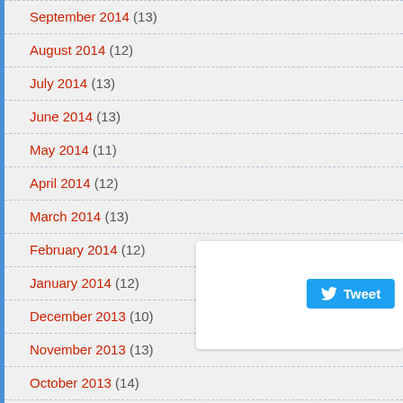September 2014 (13)
August 2014 (12)
July 2014 (13)
June 2014 (13)
May 2014 (11)
April 2014 (12)
March 2014 (13)
February 2014 (12)
January 2014 (12)
December 2013 (10)
November 2013 (13)
October 2013 (14)
September 2013 (13)